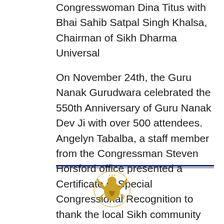Congresswoman Dina Titus with Bhai Sahib Satpal Singh Khalsa, Chairman of Sikh Dharma Universal
On November 24th, the Guru Nanak Gurudwara celebrated the 550th Anniversary of Guru Nanak Dev Ji with over 500 attendees. Angelyn Tabalba, a staff member from the Congressman Steven Horsford office presented a Certificate of Special Congressional Recognition to thank the local Sikh community for their contribution to Las Vegas.
[Figure (illustration): United States government eagle seal in gold/yellow coloring, centered below a double horizontal rule divider]